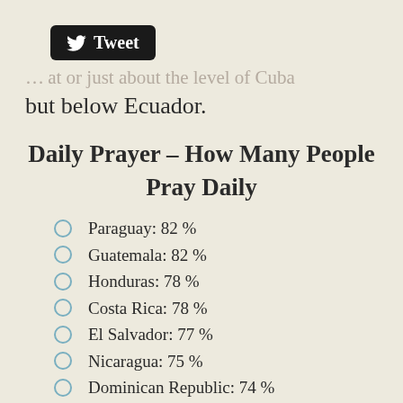[Figure (logo): Twitter Tweet button with bird logo on black rounded rectangle background]
...but below Ecuador.
Daily Prayer – How Many People Pray Daily
Paraguay: 82%
Guatemala: 82%
Honduras: 78%
Costa Rica: 78%
El Salvador: 77%
Nicaragua: 75%
Dominican Republic: 74%
Colombia: 73%
Panama: 63% (cut off)